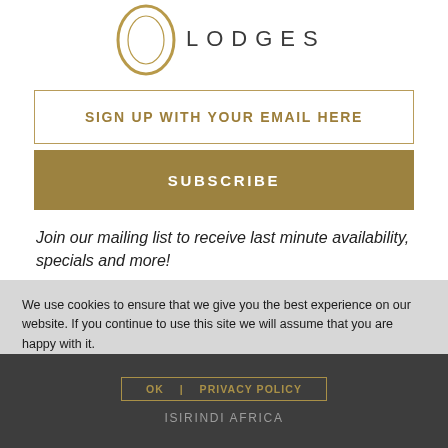[Figure (logo): Isibindi Africa Lodges logo — stylized oval/ring shape with text LODGES beside it]
SIGN UP WITH YOUR EMAIL HERE
SUBSCRIBE
Join our mailing list to receive last minute availability, specials and more!
We use cookies to ensure that we give you the best experience on our website. If you continue to use this site we will assume that you are happy with it.
OK   |   PRIVACY POLICY
ISIRINDI AFRICA